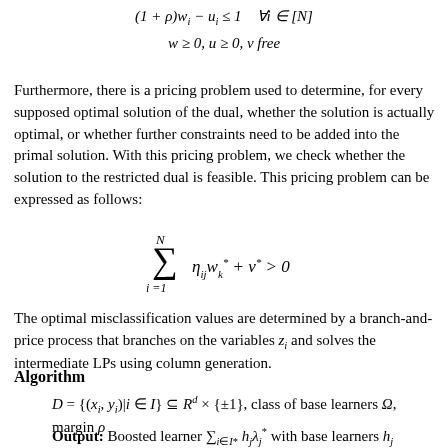Furthermore, there is a pricing problem used to determine, for every supposed optimal solution of the dual, whether the solution is actually optimal, or whether further constraints need to be added into the primal solution. With this pricing problem, we check whether the solution to the restricted dual is feasible. This pricing problem can be expressed as follows:
The optimal misclassification values are determined by a branch-and-price process that branches on the variables z_i and solves the intermediate LPs using column generation.
Algorithm
D = {(x_i, y_i)|i ∈ I} ⊆ R^d × {±1}, class of base learners Ω, margin ρ
Output: Boosted learner ∑_{i∈I*} h_j λ_j* with base learners h_j